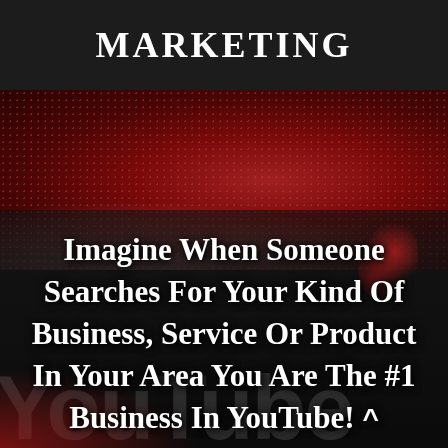MARKETING
[Figure (illustration): Dark red/maroon textured background with YouTube logo partially visible at bottom, suggesting YouTube marketing context]
Imagine When Someone Searches For Your Kind Of Business, Service Or Product In Your Area You Are The #1 Business In YouTube! ^